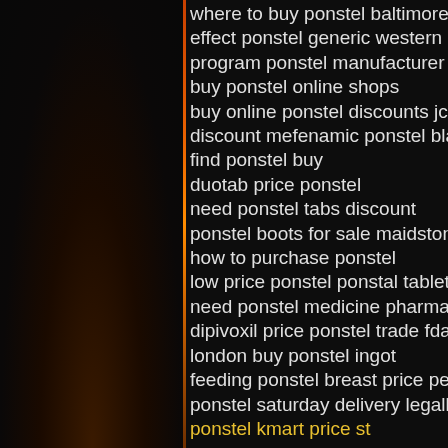where to buy ponstel baltimore
effect ponstel generic western union
program ponstel manufacturer discount
buy ponstel online shops
buy online ponstel discounts jcb
discount mefenamic ponstel blackburn
find ponstel buy
duotab price ponstel
need ponstel tabs discount
ponstel boots for sale maidstone
how to purchase ponstel
low price ponstel ponstal tablet
need ponstel medicine pharmacy fedex
dipivoxil price ponstel trade fda
london buy ponstel ingot
feeding ponstel breast price pellets
ponstel saturday delivery legally sale
ponstel kmart price st
Netflix's Chief Content Officer, Ted Sara offered to Reuter's reporters, '"Being ca precisely forecast and predict the behav many people on fairly radical change is